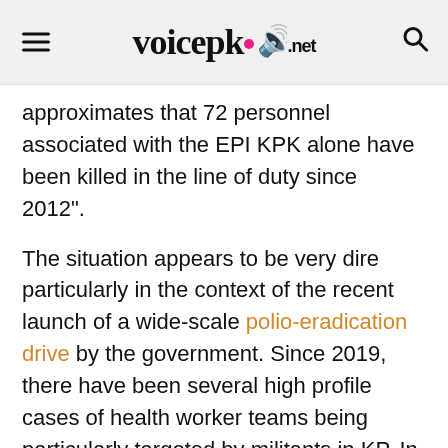voicepk.net
approximates that 72 personnel associated with the EPI KPK alone have been killed in the line of duty since 2012".
The situation appears to be very dire particularly in the context of the recent launch of a wide-scale polio-eradication drive by the government. Since 2019, there have been several high profile cases of health worker teams being particularly targeted by militants in KP. In two recent incidents, health worker teams were targeted by gunmen in Swabi and Dir resulting in the deaths of two lady health workers and two police escorts, respectively